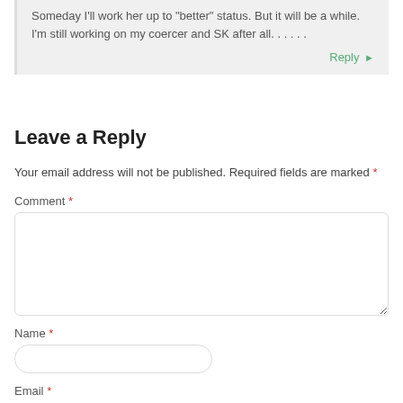Someday I'll work her up to "better" status. But it will be a while. I'm still working on my coercer and SK after all. . . . . .
Reply ▶
Leave a Reply
Your email address will not be published. Required fields are marked *
Comment *
Name *
Email *